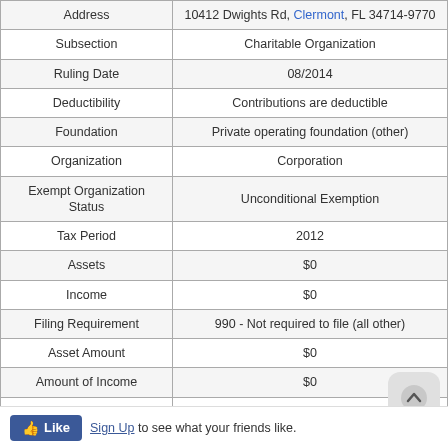| Field | Value |
| --- | --- |
| Address | 10412 Dwights Rd, Clermont, FL 34714-9770 |
| Subsection | Charitable Organization |
| Ruling Date | 08/2014 |
| Deductibility | Contributions are deductible |
| Foundation | Private operating foundation (other) |
| Organization | Corporation |
| Exempt Organization Status | Unconditional Exemption |
| Tax Period | 2012 |
| Assets | $0 |
| Income | $0 |
| Filing Requirement | 990 - Not required to file (all other) |
| Asset Amount | $0 |
| Amount of Income | $0 |
| Form 990 Revenue Amount | $0 |
| National Taxonomy of Exempt Entities (NTEE) | Philanthropy, Voluntarism and Grantmaking Foundations: Private Grantmaking Foundations |